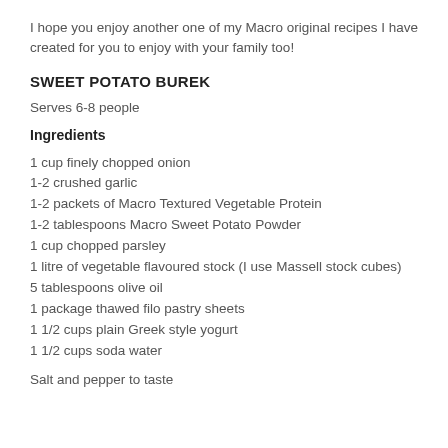I hope you enjoy another one of my Macro original recipes I have created for you to enjoy with your family too!
SWEET POTATO BUREK
Serves 6-8 people
Ingredients
1 cup finely chopped onion
1-2 crushed garlic
1-2 packets of Macro Textured Vegetable Protein
1-2 tablespoons Macro Sweet Potato Powder
1 cup chopped parsley
1 litre of vegetable flavoured stock (I use Massell stock cubes)
5 tablespoons olive oil
1 package thawed filo pastry sheets
1 1/2 cups plain Greek style yogurt
1 1/2 cups soda water
Salt and pepper to taste